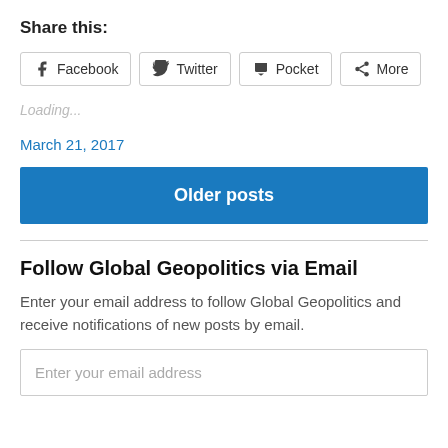Share this:
[Figure (other): Social sharing buttons: Facebook, Twitter, Pocket, More]
Loading...
March 21, 2017
Older posts
Follow Global Geopolitics via Email
Enter your email address to follow Global Geopolitics and receive notifications of new posts by email.
Enter your email address